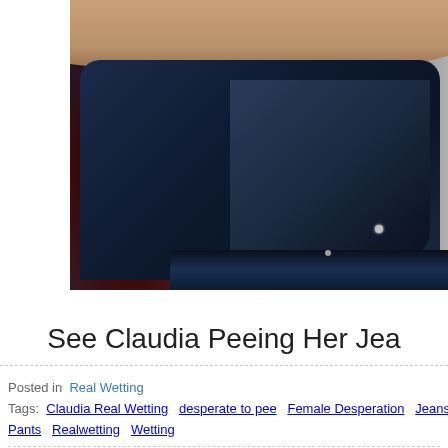[Figure (photo): Close-up photograph of a person's legs wearing dark navy/black jeans or pants, with a dark background featuring red shadows on the left and a gray wall on the right.]
See Claudia Peeing Her Jea
Posted in  Real Wetting
Tags:  Claudia Real Wetting   desperate to pee   Female Desperation   Jeans Peeing   P
Pants   Realwetting   Wetting